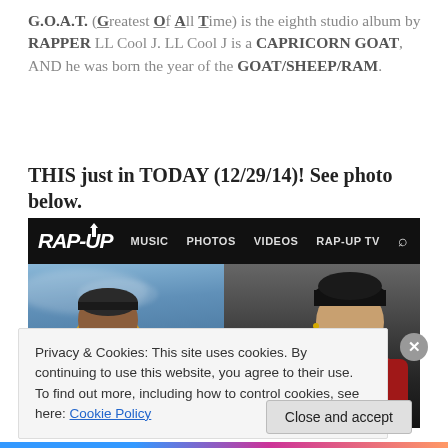G.O.A.T. (Greatest Of All Time) is the eighth studio album by RAPPER LL Cool J. LL Cool J is a CAPRICORN GOAT, AND he was born the year of the GOAT/SHEEP/RAM.
THIS just in TODAY (12/29/14)! See photo below.
[Figure (screenshot): Screenshot of Rap-Up website showing navigation bar with MUSIC, PHOTOS, VIDEOS, RAP-UP TV links and a photo banner featuring two rappers — one in a yellow shirt against a cloudy sky background, and another in dark clothing against a dark background.]
Privacy & Cookies: This site uses cookies. By continuing to use this website, you agree to their use.
To find out more, including how to control cookies, see here: Cookie Policy